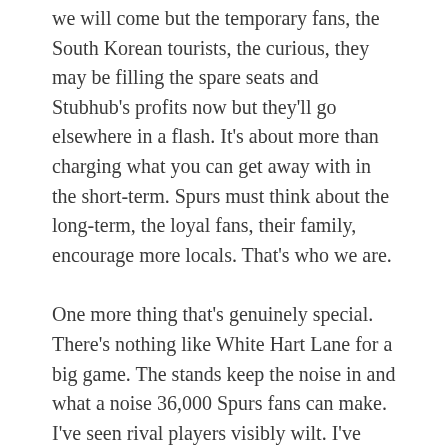we will come but the temporary fans, the South Korean tourists, the curious, they may be filling the spare seats and Stubhub's profits now but they'll go elsewhere in a flash. It's about more than charging what you can get away with in the short-term. Spurs must think about the long-term, the loyal fans, their family, encourage more locals. That's who we are.
One more thing that's genuinely special. There's nothing like White Hart Lane for a big game. The stands keep the noise in and what a noise 36,000 Spurs fans can make. I've seen rival players visibly wilt. I've seen our players inspired, whether that be Anderlecht in 84 or Arsenal in 2015, nothing's changed. It's an illustrious history of devotion. I'm proud to weave some modern myths and tell my stories to my grandchildren. I want them to be as proud of being a Tottenham Hotspur supporter as I am.